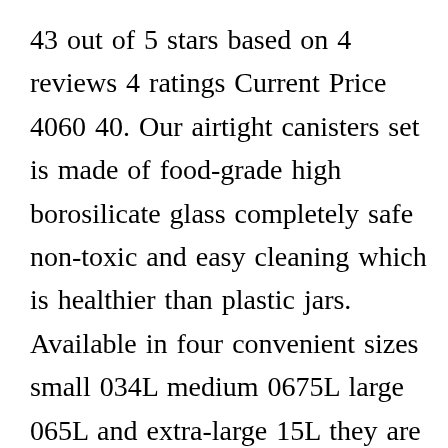43 out of 5 stars based on 4 reviews 4 ratings Current Price 4060 40. Our airtight canisters set is made of food-grade high borosilicate glass completely safe non-toxic and easy cleaning which is healthier than plastic jars. Available in four convenient sizes small 034L medium 0675L large 065L and extra-large 15L they are designed to stack neatly and to mix or match at home. 3pc Canister Sets for Kitchen Counter Labels Marker - Glass Cookie Jars with A[CLOSE X]ids - Food